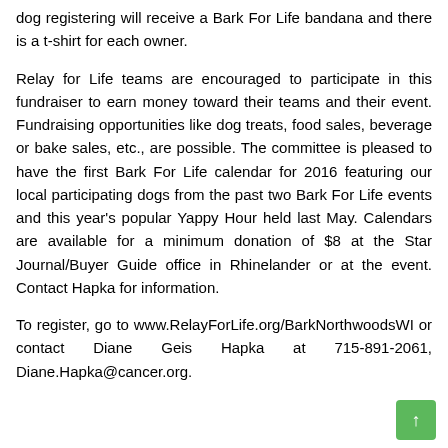dog registering will receive a Bark For Life bandana and there is a t-shirt for each owner.
Relay for Life teams are encouraged to participate in this fundraiser to earn money toward their teams and their event. Fundraising opportunities like dog treats, food sales, beverage or bake sales, etc., are possible. The committee is pleased to have the first Bark For Life calendar for 2016 featuring our local participating dogs from the past two Bark For Life events and this year's popular Yappy Hour held last May. Calendars are available for a minimum donation of $8 at the Star Journal/Buyer Guide office in Rhinelander or at the event. Contact Hapka for information.
To register, go to www.RelayForLife.org/BarkNorthwoodsWI or contact Diane Geis Hapka at 715-891-2061, Diane.Hapka@cancer.org.